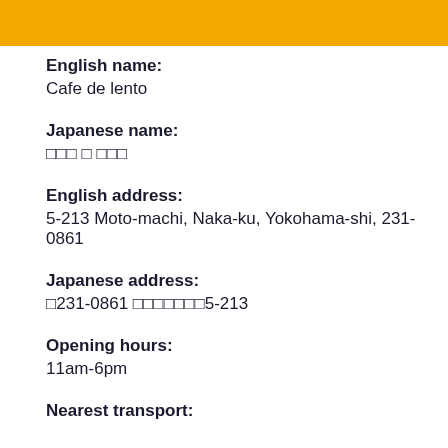English name:
Cafe de lento
Japanese name:
□□□ □ □□□
English address:
5-213 Moto-machi, Naka-ku, Yokohama-shi, 231-0861
Japanese address:
□231-0861 □□□□□□□5-213
Opening hours:
11am-6pm
Nearest transport: